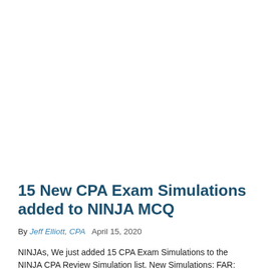15 New CPA Exam Simulations added to NINJA MCQ
By Jeff Elliott, CPA   April 15, 2020
NINJAs, We just added 15 CPA Exam Simulations to the NINJA CPA Review Simulation list. New Simulations: FAR: